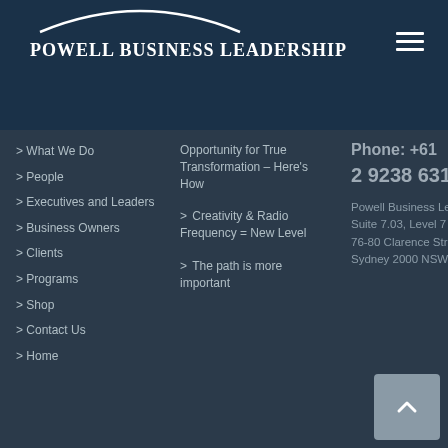POWELL BUSINESS LEADERSHIP
> What We Do
> People
> Executives and Leaders
> Business Owners
> Clients
> Programs
> Shop
> Contact Us
> Home
Opportunity for True Transformation – Here's How
> Creativity & Radio Frequency = New Level
> The path is more important
Phone: +61
2 9238 6317
Powell Business Leadership Suite 7.03, Level 7 76-80 Clarence Street, Sydney 2000 NSW Australia